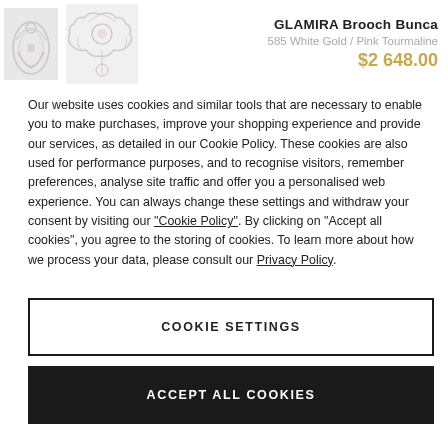GLAMIRA Brooch Bunca | 585 White Gold / Pink Tourmaline | $2,648.00
Our website uses cookies and similar tools that are necessary to enable you to make purchases, improve your shopping experience and provide our services, as detailed in our Cookie Policy. These cookies are also used for performance purposes, and to recognise visitors, remember preferences, analyse site traffic and offer you a personalised web experience. You can always change these settings and withdraw your consent by visiting our “Cookie Policy”. By clicking on “Accept all cookies”, you agree to the storing of cookies. To learn more about how we process your data, please consult our Privacy Policy.
COOKIE SETTINGS
ACCEPT ALL COOKIES